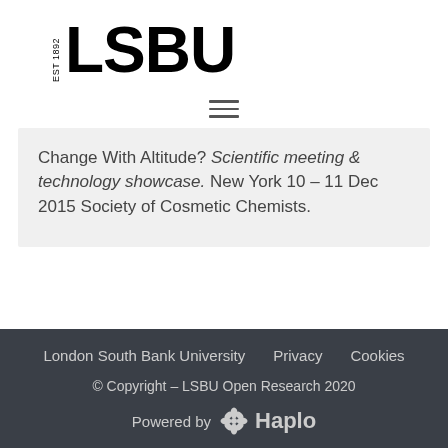[Figure (logo): LSBU logo with EST 1892 text and bold LSBU lettering]
[Figure (other): Hamburger menu icon (three horizontal lines)]
Change With Altitude? Scientific meeting & technology showcase. New York 10 – 11 Dec 2015 Society of Cosmetic Chemists.
London South Bank University   Privacy   Cookies
© Copyright – LSBU Open Research 2020
Powered by Haplo